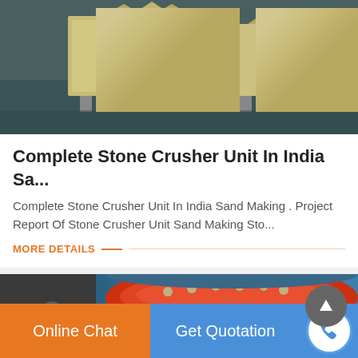[Figure (photo): Industrial machinery equipment on factory floor with beige/yellow crushing units on grey/teal floor]
Complete Stone Crusher Unit In India Sa...
Complete Stone Crusher Unit In India Sand Making . Project Report Of Stone Crusher Unit Sand Making Sto...
MORE DETAILS
[Figure (photo): Blue cylindrical drum/crusher with orange/red interior components, industrial machinery in background]
Online Chat | Get Quotation